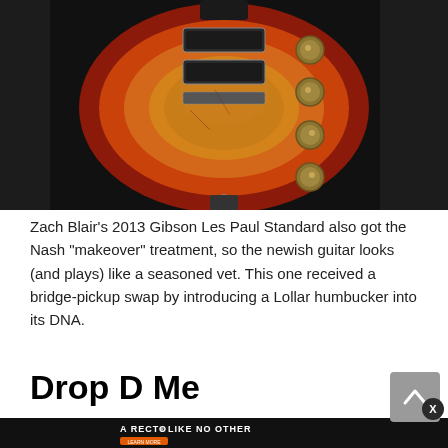[Figure (photo): Zach Blair's 2013 Gibson Les Paul Standard guitar body viewed from the front, showing a cherry sunburst finish with visible aging/relic work, two humbuckers, gold tuning knobs, and a bridge, resting on a guitar stand against a dark background.]
Zach Blair's 2013 Gibson Les Paul Standard also got the Nash "makeover" treatment, so the newish guitar looks (and plays) like a seasoned vet. This one received a bridge-pickup swap by introducing a Lollar humbucker into its DNA.
Drop D Me
[Figure (photo): Advertisement for Mesa/Boogie Badlander Series amplifier. Text reads: A RECTO LIKE NO OTHER / THE BADLANDER SERIES / LEARN MORE / MESA/BOOGIE. Shows a guitar amplifier head and a guitar on a dark background.]